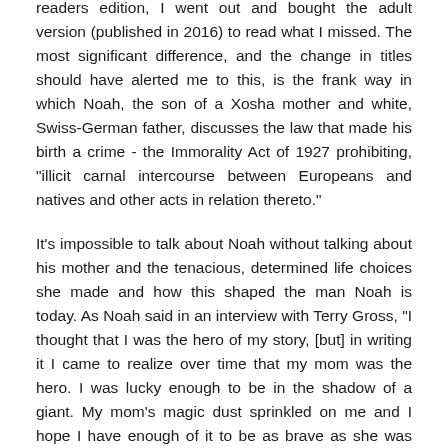readers edition, I went out and bought the adult version (published in 2016) to read what I missed. The most significant difference, and the change in titles should have alerted me to this, is the frank way in which Noah, the son of a Xosha mother and white, Swiss-German father, discusses the law that made his birth a crime - the Immorality Act of 1927 prohibiting, "illicit carnal intercourse between Europeans and natives and other acts in relation thereto."
It's impossible to talk about Noah without talking about his mother and the tenacious, determined life choices she made and how this shaped the man Noah is today. As Noah said in an interview with Terry Gross, "I thought that I was the hero of my story, [but] in writing it I came to realize over time that my mom was the hero. I was lucky enough to be in the shadow of a giant. My mom's magic dust sprinkled on me and I hope I have enough of it to be as brave as she was and continues to be". Nurture - or to be exact, strict